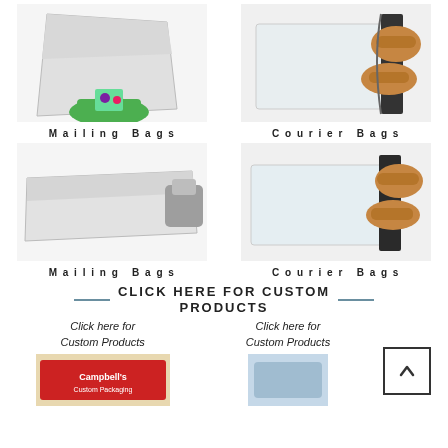[Figure (photo): White mailing bag with colorful cloth item visible inside, top-left]
Mailing Bags
[Figure (photo): Courier bag being peeled open by hands showing black adhesive strip, top-right]
Courier Bags
[Figure (photo): White mailing bag with grey shirt inside, bottom-left]
Mailing Bags
[Figure (photo): Courier bag being opened showing adhesive strip, bottom-right]
Courier Bags
CLICK HERE FOR CUSTOM PRODUCTS
Click here for Custom Products
Click here for Custom Products
[Figure (photo): Campbell's branded product packaging, bottom-left]
[Figure (photo): Custom product image, bottom-right]